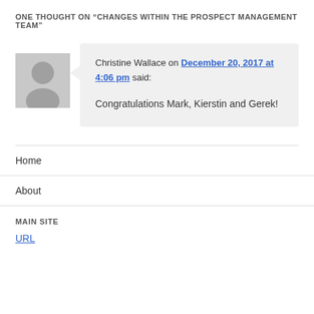ONE THOUGHT ON “CHANGES WITHIN THE PROSPECT MANAGEMENT TEAM”
Christine Wallace on December 20, 2017 at 4:06 pm said:
Congratulations Mark, Kierstin and Gerek!
Home
About
MAIN SITE
URL